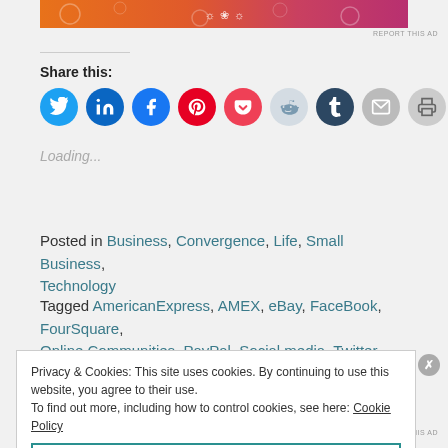[Figure (illustration): Top banner with decorative orange-to-pink gradient pattern]
REPORT THIS AD
Share this:
[Figure (infographic): Row of social sharing icon circles: Twitter (blue), LinkedIn (dark blue), Facebook (blue), Pinterest (red), Pocket (red), Reddit (light blue), Tumblr (dark blue), Email (gray), Print (gray)]
Loading...
Posted in Business, Convergence, Life, Small Business, Technology
Tagged AmericanExpress, AMEX, eBay, FaceBook, FourSquare, Online Communities, PayPal, Social media, Twitter
Privacy & Cookies: This site uses cookies. By continuing to use this website, you agree to their use.
To find out more, including how to control cookies, see here: Cookie Policy
Close and accept